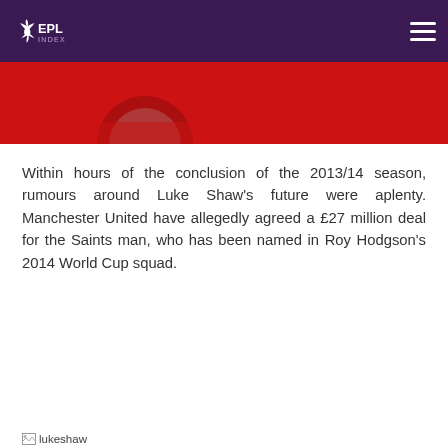EPL Index
[Figure (photo): Partial view of football players in red jerseys, cropped at top of page]
Within hours of the conclusion of the 2013/14 season, rumours around Luke Shaw's future were aplenty. Manchester United have allegedly agreed a £27 million deal for the Saints man, who has been named in Roy Hodgson's 2014 World Cup squad.
[Figure (photo): Broken image placeholder labelled 'lukeshaw']